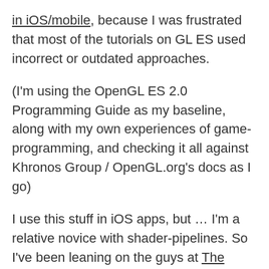in iOS/mobile, because I was frustrated that most of the tutorials on GL ES used incorrect or outdated approaches.
(I'm using the OpenGL ES 2.0 Programming Guide as my baseline, along with my own experiences of game-programming, and checking it all against Khronos Group / OpenGL.org's docs as I go)
I use this stuff in iOS apps, but … I'm a relative novice with shader-pipelines. So I've been leaning on the guys at The Chaos Engine for proofreading and to help me avoid spreading misinformation. Most stuff people broadly agree on, but there's been some interesting debate over a seemingly trivial question: